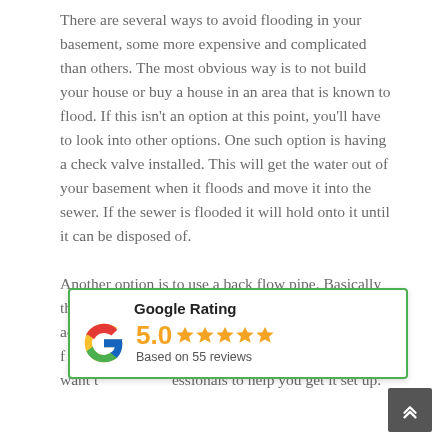There are several ways to avoid flooding in your basement, some more expensive and complicated than others. The most obvious way is to not build your house or buy a house in an area that is known to flood. If this isn't an option at this point, you'll have to look into other options. One such option is having a check valve installed. This will get the water out of your basement when it floods and move it into the sewer. If the sewer is flooded it will hold onto it until it can be disposed of.
Another option is to use a back flow pipe. Basically the pipe will use downward pressure of water that accumulates in the pipe to push out any water that f[ ]ay sound complicated b[ ] which method you want t[ ]essionals to help you get it set up.
[Figure (infographic): Google Rating widget showing 5.0 stars based on 55 reviews, with the Google 'G' logo on the left and a green border outline.]